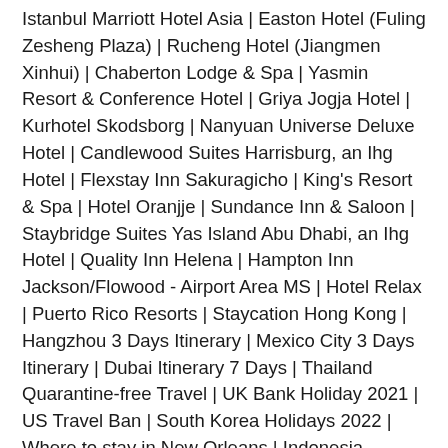Istanbul Marriott Hotel Asia | Easton Hotel (Fuling Zesheng Plaza) | Rucheng Hotel (Jiangmen Xinhui) | Chaberton Lodge & Spa | Yasmin Resort & Conference Hotel | Griya Jogja Hotel | Kurhotel Skodsborg | Nanyuan Universe Deluxe Hotel | Candlewood Suites Harrisburg, an Ihg Hotel | Flexstay Inn Sakuragicho | King's Resort & Spa | Hotel Oranjje | Sundance Inn & Saloon | Staybridge Suites Yas Island Abu Dhabi, an Ihg Hotel | Quality Inn Helena | Hampton Inn Jackson/Flowood - Airport Area MS | Hotel Relax | Puerto Rico Resorts | Staycation Hong Kong | Hangzhou 3 Days Itinerary | Mexico City 3 Days Itinerary | Dubai Itinerary 7 Days | Thailand Quarantine-free Travel | UK Bank Holiday 2021 | US Travel Ban | South Korea Holidays 2022 | Where to stay in New Orleans | Indonesia Holidays 2022 | Luz Madrid Rooms | Best Western Capital Beltway | Golden Summer Hotel | ...